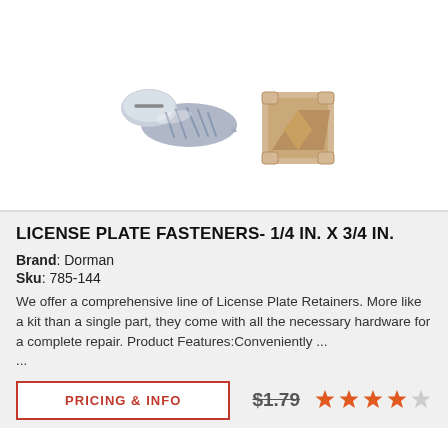[Figure (photo): A chrome pan-head screw and a beige square plastic retainer clip for license plate fasteners]
LICENSE PLATE FASTENERS- 1/4 IN. X 3/4 IN.
Brand: Dorman
Sku: 785-144
We offer a comprehensive line of License Plate Retainers. More like a kit than a single part, they come with all the necessary hardware for a complete repair. Product Features:Conveniently ...
PRICING & INFO
$1.79
[Figure (other): 4 filled orange stars and 1 empty gray star rating]